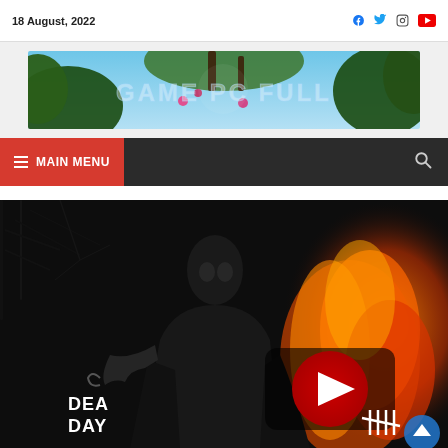18 August, 2022
[Figure (screenshot): Game PC Full website banner with fantasy forest background and 'GAME PC FULL' text overlay]
[Figure (screenshot): Dark navigation bar with red 'MAIN MENU' button with hamburger icon on the left and search icon on the right]
[Figure (screenshot): Dead by Daylight game video thumbnail showing a masked killer character in front of fire, with YouTube play button overlay and 'DEAD BY DAY' text visible]